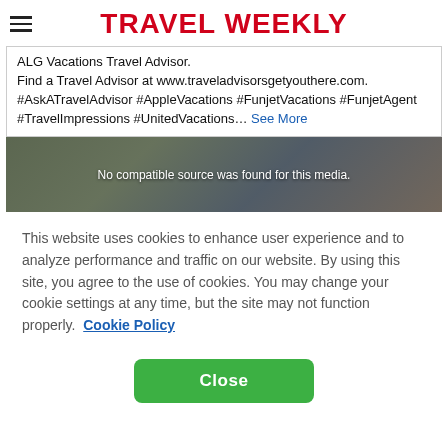TRAVEL WEEKLY
ALG Vacations Travel Advisor.
Find a Travel Advisor at www.traveladvisorsgetyouthere.com. #AskATravelAdvisor #AppleVacations #FunjetVacations #FunjetAgent #TravelImpressions #UnitedVacations... See More
[Figure (photo): Video player placeholder showing children at a computer with text 'No compatible source was found for this media.']
This website uses cookies to enhance user experience and to analyze performance and traffic on our website. By using this site, you agree to the use of cookies. You may change your cookie settings at any time, but the site may not function properly. Cookie Policy
Close